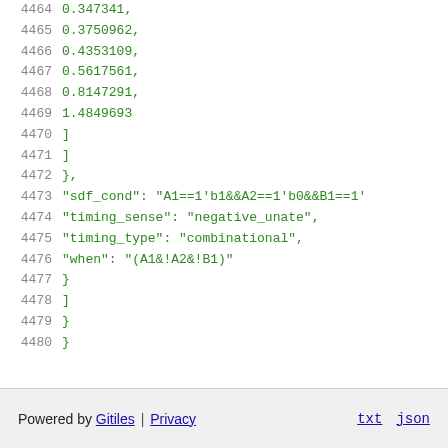4464    0.347341,
4465    0.3750962,
4466    0.4353109,
4467    0.5617561,
4468    0.8147291,
4469    1.4849693
4470        ]
4471      ]
4472    },
4473    "sdf_cond": "A1==1'b1&&A2==1'b0&&B1==1'
4474    "timing_sense": "negative_unate",
4475    "timing_type": "combinational",
4476    "when": "(A1&!A2&!B1)"
4477        }
4478      ]
4479    }
4480  }
Powered by Gitiles | Privacy    txt  json